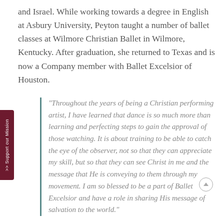and Israel. While working towards a degree in English at Asbury University, Peyton taught a number of ballet classes at Wilmore Christian Ballet in Wilmore, Kentucky. After graduation, she returned to Texas and is now a Company member with Ballet Excelsior of Houston.
“Throughout the years of being a Christian performing artist, I have learned that dance is so much more than learning and perfecting steps to gain the approval of those watching. It is about training to be able to catch the eye of the observer, not so that they can appreciate my skill, but so that they can see Christ in me and the message that He is conveying to them through my movement. I am so blessed to be a part of Ballet Excelsior and have a role in sharing His message of salvation to the world.”